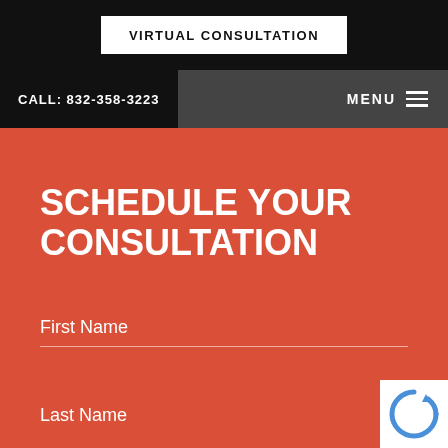VIRTUAL CONSULTATION
CALL: 832-358-3223
MENU
SCHEDULE YOUR CONSULTATION
First Name
Last Name
CONTACT US
832-358-3223